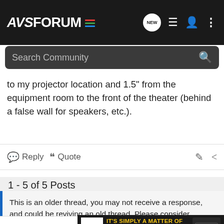AVS FORUM - Search Community
to my projector location and 1.5" from the equipment room to the front of the theater (behind a false wall for speakers, etc.).
Reply  Quote
1 - 5 of 5 Posts
This is an older thread, you may not receive a response, and could be reviving an old thread. Please consider creating a new thread.
[Figure (screenshot): Bottom toolbar with formatting icons and NAD M33 Amplifier advertisement banner]